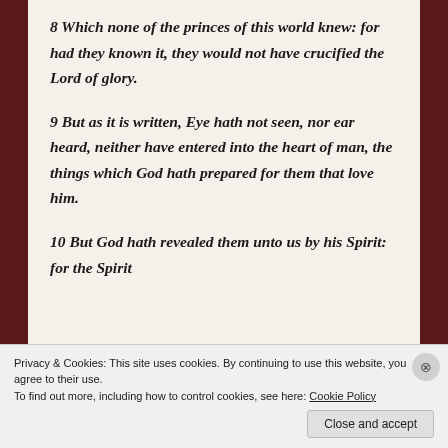8 Which none of the princes of this world knew: for had they known it, they would not have crucified the Lord of glory.
9 But as it is written, Eye hath not seen, nor ear heard, neither have entered into the heart of man, the things which God hath prepared for them that love him.
10 But God hath revealed them unto us by his Spirit: for the Spirit
Privacy & Cookies: This site uses cookies. By continuing to use this website, you agree to their use.
To find out more, including how to control cookies, see here: Cookie Policy